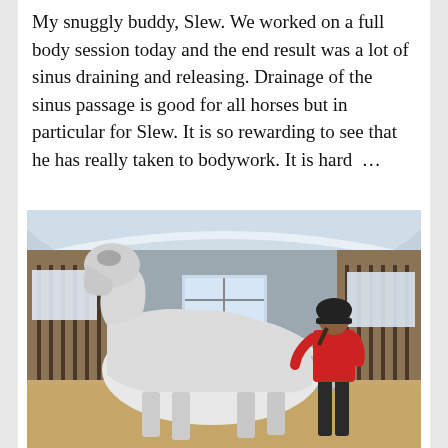My snuggly buddy, Slew. We worked on a full body session today and the end result was a lot of sinus draining and releasing. Drainage of the sinus passage is good for all horses but in particular for Slew. It is so rewarding to see that he has really taken to bodywork. It is hard ...
[Figure (photo): A white horse standing inside a stable stall with sawdust on the floor. A person wearing a red top and black pants and a dark helmet is standing beside the horse, facing it. The stable has wooden walls, metal stall bars, and a curved skylight roof letting in natural light.]